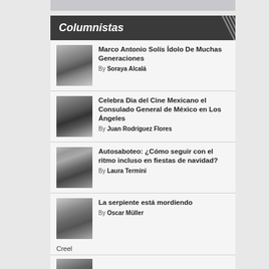Columnistas
Marco Antonio Solís Ídolo De Muchas Generaciones By Soraya Alcalá
Celebra Dia del Cine Mexicano el Consulado General de México en Los Ángeles By Juan Rodríguez Flores
Autosaboteo: ¿Cómo seguir con el ritmo incluso en fiestas de navidad? By Laura Termini
La serpiente está mordiendo By Oscar Müller Creel
¡El